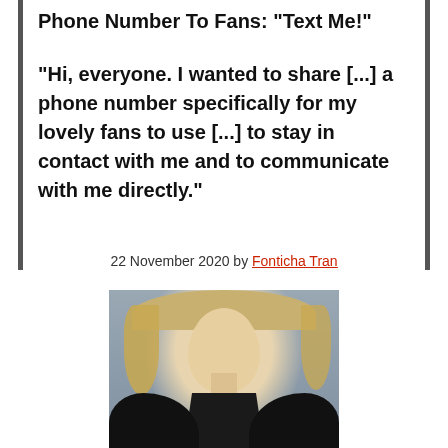Phone Number To Fans: "Text Me!"
"Hi, everyone. I wanted to share [...] a phone number specifically for my lovely fans to use [...] to stay in contact with me and to communicate with me directly."
22 November 2020 by Fonticha Tran
[Figure (photo): Portrait photo of a young blonde woman wearing a black dress, smiling, with a grey background.]